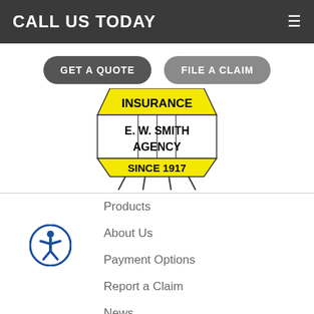CALL US TODAY
GET A QUOTE
FILE A CLAIM
[Figure (logo): E. W. Smith Agency Insurance Since 1917 logo — a vintage sign shape with yellow top bar reading INSURANCE, white middle reading E. W. SMITH AGENCY, and yellow bottom bar reading SINCE 1917]
Products
About Us
Payment Options
Report a Claim
News
Refer A Friend
Our Carriers
Blog